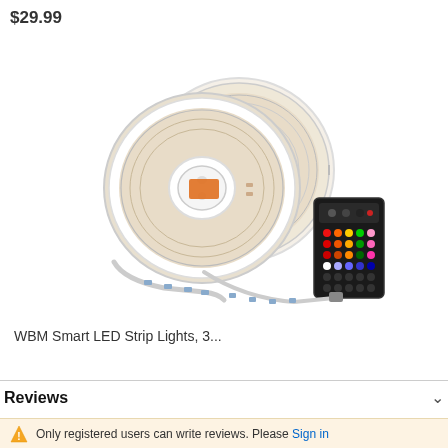$29.99
[Figure (photo): Two spools of LED strip lights and a 44-button IR remote control]
WBM Smart LED Strip Lights, 3...
Reviews
Only registered users can write reviews. Please Sign in